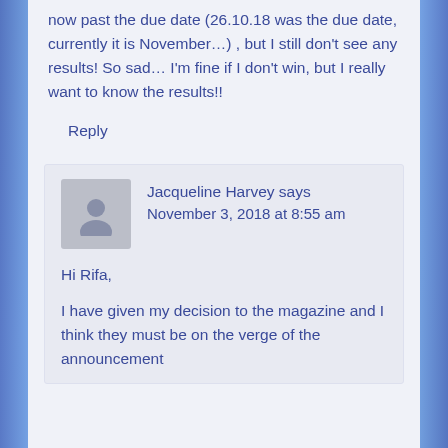now past the due date (26.10.18 was the due date, currently it is November…) , but I still don't see any results! So sad… I'm fine if I don't win, but I really want to know the results!!
Reply
Jacqueline Harvey says November 3, 2018 at 8:55 am
Hi Rifa,
I have given my decision to the magazine and I think they must be on the verge of the announcement